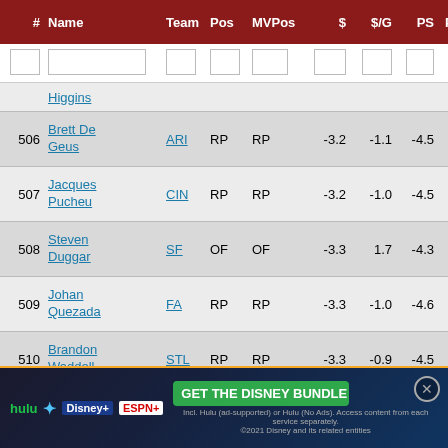| # | Name | Team | Pos | MVPos | $ | $/G | PS | PA/IP | $R | $HR |
| --- | --- | --- | --- | --- | --- | --- | --- | --- | --- | --- |
| 506 | Brett De Geus | ARI | RP | RP | -3.2 | -1.1 | -4.5 | 9 |  |  |
| 507 | Jacques Pucheu | CIN | RP | RP | -3.2 | -1.0 | -4.5 | 11 |  |  |
| 508 | Steven Duggar | SF | OF | OF | -3.3 | 1.7 | -4.3 | 346 | -3.0 | -1. |
| 509 | Johan Quezada | FA | RP | RP | -3.3 | -1.0 | -4.6 | 6 |  |  |
| 510 | Brandon Waddell | STL | RP | RP | -3.3 | -0.9 | -4.5 | 6 |  |  |
| 511 | Kyle Nelson | ARI | RP | RP | -3.3 | -0.9 | -4.6 | 6 |  |  |
| 512 | Dom Nunez | COL | C | C | -3.4 | -1.5 | -5.9 | 245 | -2.9 | 0.6 |
| 513 | Jordan Luplow | ARI | OF | OF | -3.4 | 7.5 | -4.3 | 279 | -3.1 |  |
| 514 | Ded... |  |  |  |  |  |  |  |  |  |